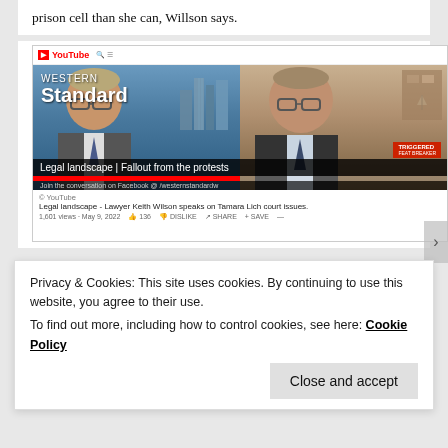prison cell than she can, Willson says.
[Figure (screenshot): YouTube screenshot showing two people in a video titled 'Legal landscape | Fallout from the protests' on Western Standard channel. Below the video: 'Legal landscape - Lawyer Keith Wilson speaks on Tamara Lich court issues.' with view count and action buttons.]
Privacy & Cookies: This site uses cookies. By continuing to use this website, you agree to their use.
To find out more, including how to control cookies, see here: Cookie Policy
Close and accept